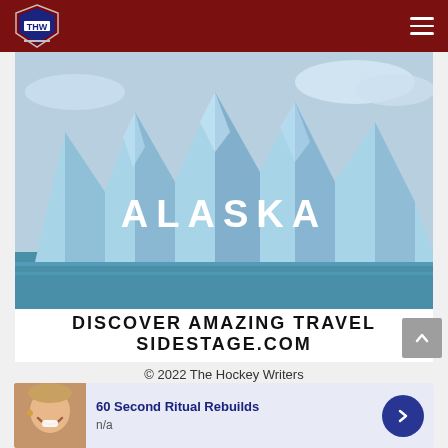THW - The Hockey Writers navigation bar
[Figure (photo): Alaska glacier photo banner with text overlay 'ALASKA' and navigation arrows, below which reads 'DISCOVER AMAZING TRAVEL SIDESTAGE.COM']
© 2022 The Hockey Writers
60 Second Ritual Rebuilds
n/a